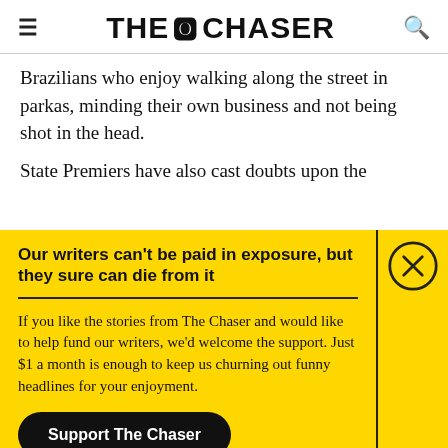THE CHASER
Brazilians who enjoy walking along the street in parkas, minding their own business and not being shot in the head.
State Premiers have also cast doubts upon the
Our writers can't be paid in exposure, but they sure can die from it
If you like the stories from The Chaser and would like to help fund our writers, we'd welcome the support. Just $1 a month is enough to keep us churning out funny headlines for your enjoyment.
Support The Chaser
Sick of this popup? Click here to never see this again.